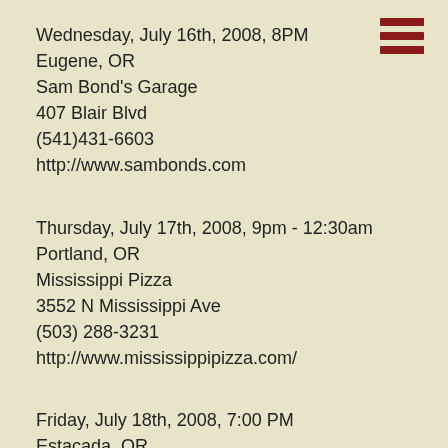[Figure (other): Hamburger menu icon — three horizontal dark red bars stacked vertically]
Wednesday, July 16th, 2008, 8PM
Eugene, OR
Sam Bond's Garage
407 Blair Blvd
(541)431-6603
http://www.sambonds.com
Thursday, July 17th, 2008, 9pm - 12:30am
Portland, OR
Mississippi Pizza
3552 N Mississippi Ave
(503) 288-3231
http://www.mississippipizza.com/
Friday, July 18th, 2008, 7:00 PM
Estacada, OR